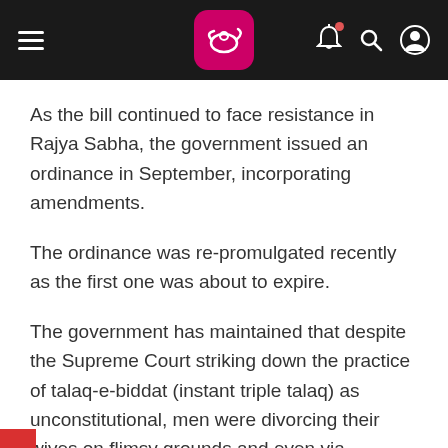[Navigation header with logo, hamburger menu, bell, search and user icons]
As the bill continued to face resistance in Rajya Sabha, the government issued an ordinance in September, incorporating amendments.
The ordinance was re-promulgated recently as the first one was about to expire.
The government has maintained that despite the Supreme Court striking down the practice of talaq-e-biddat (instant triple talaq) as unconstitutional, men were divorcing their wives on flimsy grounds and even via WhatsApp.
The opposition has said divorce cannot be made a penal offence and the provisions of the bill are